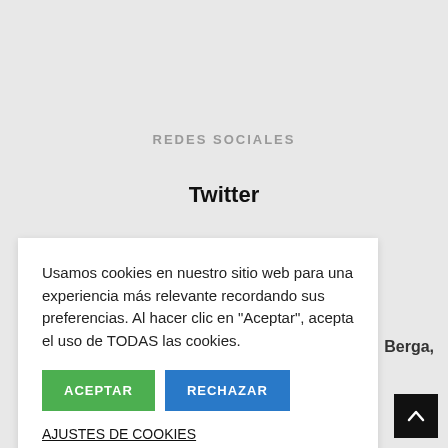REDES SOCIALES
Twitter
Usamos cookies en nuestro sitio web para una experiencia más relevante recordando sus preferencias. Al hacer clic en "Aceptar", acepta el uso de TODAS las cookies.
ACEPTAR
RECHAZAR
AJUSTES DE COOKIES
Berga,
84
654